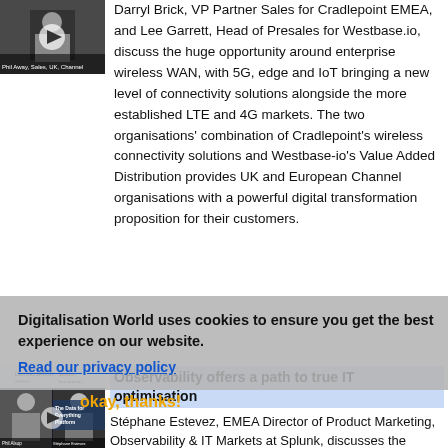Darryl Brick, VP Partner Sales for Cradlepoint EMEA, and Lee Garrett, Head of Presales for Westbase.io, discuss the huge opportunity around enterprise wireless WAN, with 5G, edge and IoT bringing a new level of connectivity solutions alongside the more established LTE and 4G markets. The two organisations' combination of Cradlepoint's wireless connectivity solutions and Westbase-io's Value Added Distribution provides UK and European Channel organisations with a powerful digital transformation proposition for their customers.
[Figure (screenshot): Video thumbnail showing a person speaking, with a play button overlay]
Digitalisation World uses cookies to ensure you get the best experience on our website.
Read our privacy policy
okay, thanks!
[Figure (screenshot): Video thumbnail showing two people in a Splunk webinar, with a play button overlay]
Observability offers a path to true IT optimisation
Stéphane Estevez, EMEA Director of Product Marketing, Observability & IT Markets at Splunk, discusses the findings